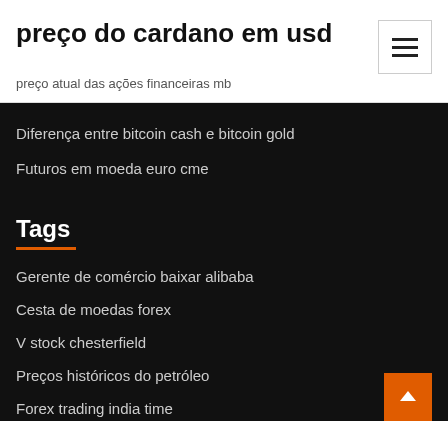preço do cardano em usd
preço atual das ações financeiras mb
Diferença entre bitcoin cash e bitcoin gold
Futuros em moeda euro cme
Tags
Gerente de comércio baixar alibaba
Cesta de moedas forex
V stock chesterfield
Preços históricos do petróleo
Forex trading india time